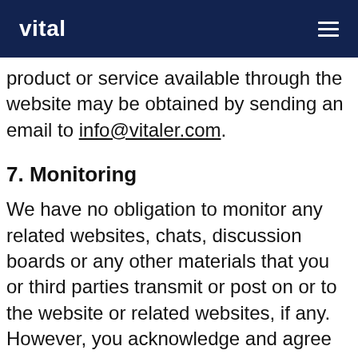vital
product or service available through the website may be obtained by sending an email to info@vitaler.com.
7. Monitoring
We have no obligation to monitor any related websites, chats, discussion boards or any other materials that you or third parties transmit or post on or to the website or related websites, if any. However, you acknowledge and agree that we